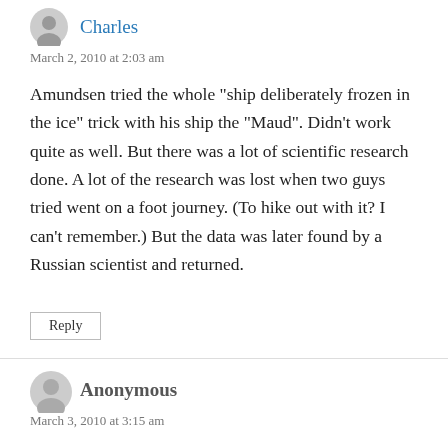Charles
March 2, 2010 at 2:03 am
Amundsen tried the whole "ship deliberately frozen in the ice" trick with his ship the "Maud". Didn't work quite as well. But there was a lot of scientific research done. A lot of the research was lost when two guys tried went on a foot journey. (To hike out with it? I can't remember.) But the data was later found by a Russian scientist and returned.
Reply
Anonymous
March 3, 2010 at 3:15 am